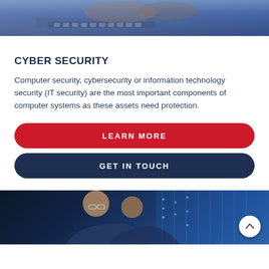[Figure (photo): Person typing on keyboard, close-up of hands on laptop/keyboard, blue-toned lighting]
CYBER SECURITY
Computer security, cybersecurity or information technology security (IT security) are the most important components of computer systems as these assets need protection.
[Figure (other): Red rounded button labeled LEARN MORE]
[Figure (other): Dark navy rounded button labeled GET IN TOUCH]
[Figure (photo): Two people (IT professionals) in server room with blue server rack lights in background; white scroll-to-top circular button in bottom right]